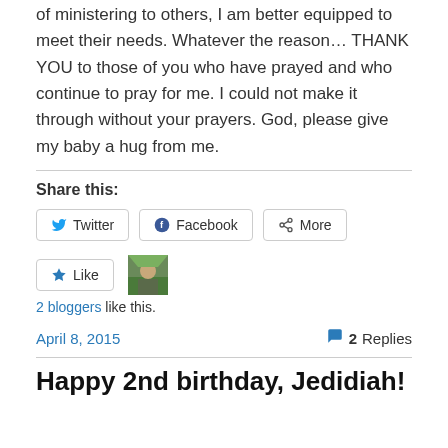of ministering to others, I am better equipped to meet their needs. Whatever the reason… THANK YOU to those of you who have prayed and who continue to pray for me. I could not make it through without your prayers. God, please give my baby a hug from me.
Share this:
Twitter  Facebook  More
Like  [avatar]  2 bloggers like this.
April 8, 2015   2 Replies
Happy 2nd birthday, Jedidiah!